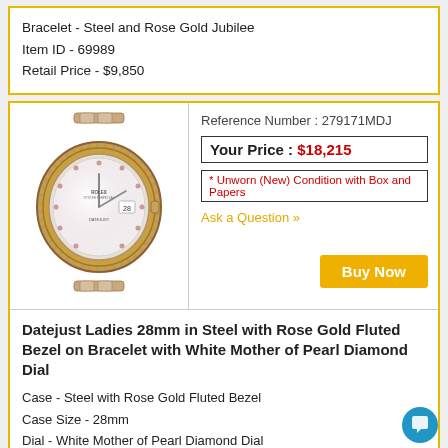Bracelet - Steel and Rose Gold Jubilee
Item ID - 69989
Retail Price - $9,850
Reference Number : 279171MDJ
Your Price : $18,215
* Unworn (New) Condition with Box and Papers
Ask a Question »
Buy Now
[Figure (photo): Rolex Datejust Ladies 28mm watch with steel and rose gold fluted bezel, white mother of pearl diamond dial, on jubilee bracelet]
Datejust Ladies 28mm in Steel with Rose Gold Fluted Bezel on Bracelet with White Mother of Pearl Diamond Dial
Case - Steel with Rose Gold Fluted Bezel
Case Size - 28mm
Dial - White Mother of Pearl Diamond Dial
Movement - Automatic
Bracelet - Steel and Rose Gold Jubilee
Item ID - 69981
Retail Price - $12,800